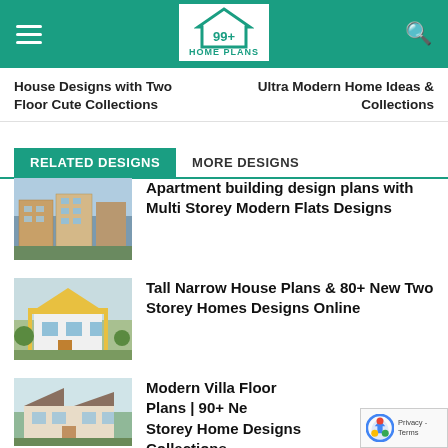[Figure (logo): 99 Home Plans logo with teal house icon on white background in green header bar]
House Designs with Two Floor Cute Collections
Ultra Modern Home Ideas & Collections
RELATED DESIGNS
MORE DESIGNS
[Figure (photo): Apartment building exterior photo - multi storey modern flats]
Apartment building design plans with Multi Storey Modern Flats Designs
[Figure (photo): Tall narrow two storey house exterior photo]
Tall Narrow House Plans & 80+ New Two Storey Homes Designs Online
[Figure (photo): Modern villa exterior photo]
Modern Villa Floor Plans | 90+ New Storey Home Designs Collections